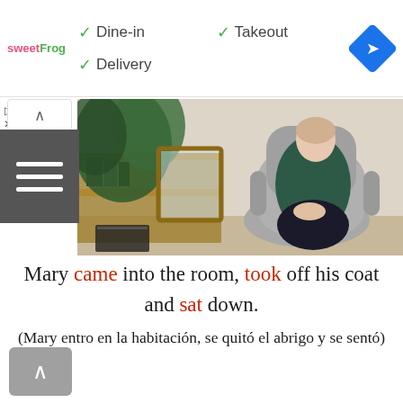[Figure (screenshot): Ad banner for sweetFrog restaurant showing Dine-in, Takeout, and Delivery options with green checkmarks, Google Maps navigation diamond icon on the right]
[Figure (photo): Person in dark teal/green top sitting in a gray upholstered chair, with a large tropical plant and wooden shelving visible in the background]
Mary came into the room, took off his coat and sat down.
(Mary entro en la habitación, se quitó el abrigo y se sentó)